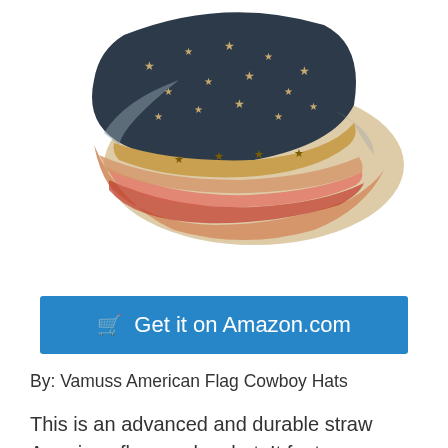[Figure (photo): American flag cowboy hat with stars and stripes pattern, worn brim, gold star studs on band, viewed from an angle showing the front and underside of brim]
🛒 Get it on Amazon.com
By: Vamuss American Flag Cowboy Hats
This is an advanced and durable straw American flag cowboy hat. It features an excellent pull on closure design. And yes, the product also boasts a top-tier material making it durable and